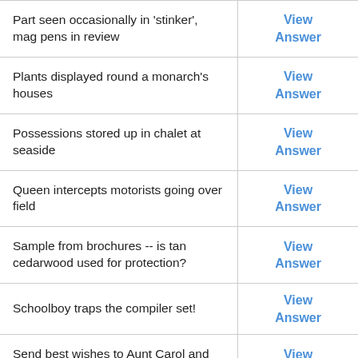| Clue | Action |
| --- | --- |
| Part seen occasionally in 'stinker', mag pens in review | View Answer |
| Plants displayed round a monarch's houses | View Answer |
| Possessions stored up in chalet at seaside | View Answer |
| Queen intercepts motorists going over field | View Answer |
| Sample from brochures -- is tan cedarwood used for protection? | View Answer |
| Schoolboy traps the compiler set! | View Answer |
| Send best wishes to Aunt Carol and get drunk | View Answer |
| Short, a film maybe | View Answer |